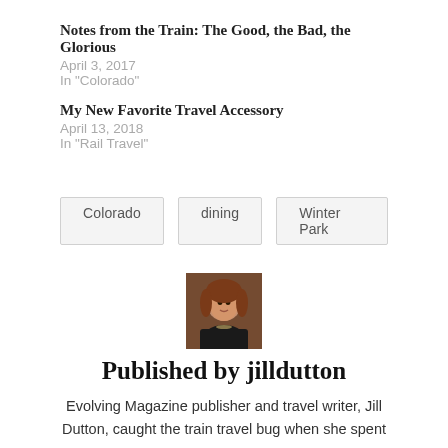Notes from the Train: The Good, the Bad, the Glorious
April 3, 2017
In "Colorado"
My New Favorite Travel Accessory
April 13, 2018
In "Rail Travel"
Colorado
dining
Winter Park
[Figure (photo): Headshot of author jilldutton, a woman with reddish-brown hair, wearing black jacket]
Published by jilldutton
Evolving Magazine publisher and travel writer, Jill Dutton, caught the train travel bug when she spent